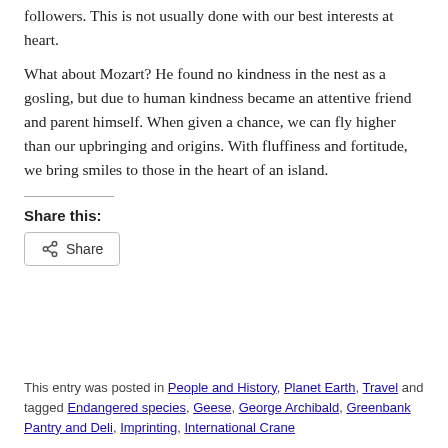followers. This is not usually done with our best interests at heart.
What about Mozart? He found no kindness in the nest as a gosling, but due to human kindness became an attentive friend and parent himself. When given a chance, we can fly higher than our upbringing and origins. With fluffiness and fortitude, we bring smiles to those in the heart of an island.
Share this:
Share
This entry was posted in People and History, Planet Earth, Travel and tagged Endangered species, Geese, George Archibald, Greenbank Pantry and Deli, Imprinting, International Crane